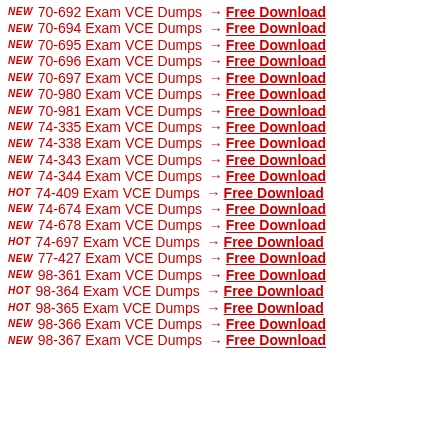NEW 70-692 Exam VCE Dumps → Free Download
NEW 70-694 Exam VCE Dumps → Free Download
NEW 70-695 Exam VCE Dumps → Free Download
NEW 70-696 Exam VCE Dumps → Free Download
NEW 70-697 Exam VCE Dumps → Free Download
NEW 70-980 Exam VCE Dumps → Free Download
NEW 70-981 Exam VCE Dumps → Free Download
NEW 74-335 Exam VCE Dumps → Free Download
NEW 74-338 Exam VCE Dumps → Free Download
NEW 74-343 Exam VCE Dumps → Free Download
NEW 74-344 Exam VCE Dumps → Free Download
HOT 74-409 Exam VCE Dumps → Free Download
NEW 74-674 Exam VCE Dumps → Free Download
NEW 74-678 Exam VCE Dumps → Free Download
HOT 74-697 Exam VCE Dumps → Free Download
NEW 77-427 Exam VCE Dumps → Free Download
NEW 98-361 Exam VCE Dumps → Free Download
HOT 98-364 Exam VCE Dumps → Free Download
HOT 98-365 Exam VCE Dumps → Free Download
NEW 98-366 Exam VCE Dumps → Free Download
NEW 98-367 Exam VCE Dumps → Free Download